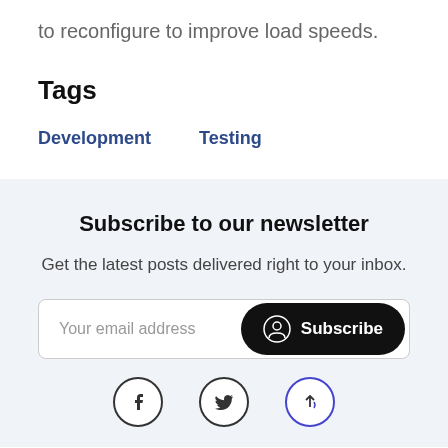to reconfigure to improve load speeds.
Tags
Development
Testing
Subscribe to our newsletter
Get the latest posts delivered right to your inbox.
[Figure (screenshot): Email subscription input box with placeholder 'Your email address' and a dark pill-shaped Subscribe button with a user icon]
[Figure (screenshot): Social media footer icons: Facebook, Twitter, and a scroll-to-top arrow button]